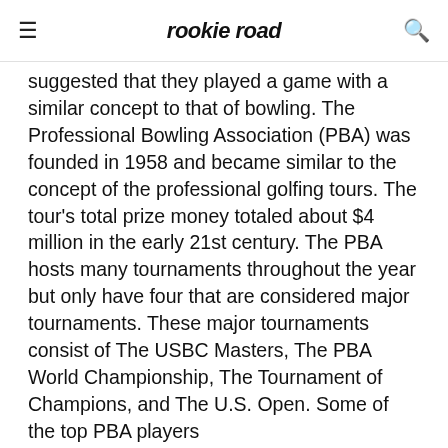rookie road
suggested that they played a game with a similar concept to that of bowling. The Professional Bowling Association (PBA) was founded in 1958 and became similar to the concept of the professional golfing tours. The tour's total prize money totaled about $4 million in the early 21st century. The PBA hosts many tournaments throughout the year but only have four that are considered major tournaments. These major tournaments consist of The USBC Masters, The PBA World Championship, The Tournament of Champions, and The U.S. Open. Some of the top PBA players